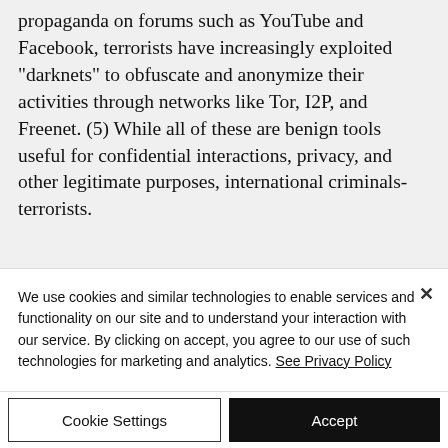propaganda on forums such as YouTube and Facebook, terrorists have increasingly exploited "darknets" to obfuscate and anonymize their activities through networks like Tor, I2P, and Freenet. (5) While all of these are benign tools useful for confidential interactions, privacy, and other legitimate purposes, international criminals-terrorists.
We use cookies and similar technologies to enable services and functionality on our site and to understand your interaction with our service. By clicking on accept, you agree to our use of such technologies for marketing and analytics. See Privacy Policy